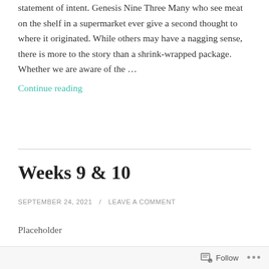statement of intent. Genesis Nine Three Many who see meat on the shelf in a supermarket ever give a second thought to where it originated. While others may have a nagging sense, there is more to the story than a shrink-wrapped package. Whether we are aware of the …
Continue reading
Weeks 9 & 10
SEPTEMBER 24, 2021 / LEAVE A COMMENT
Placeholder
Follow ···